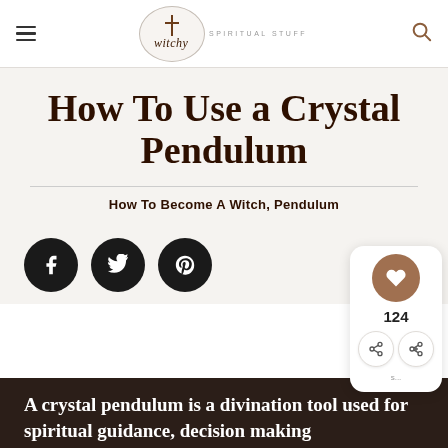witchy spiritual stuff — header with hamburger menu and search icon
How To Use a Crystal Pendulum
How To Become A Witch, Pendulum
[Figure (other): Social share buttons: Facebook, Twitter, Pinterest circles; heart like button showing 124; share icons]
A crystal pendulum is a divination tool used for spiritual guidance, decision making